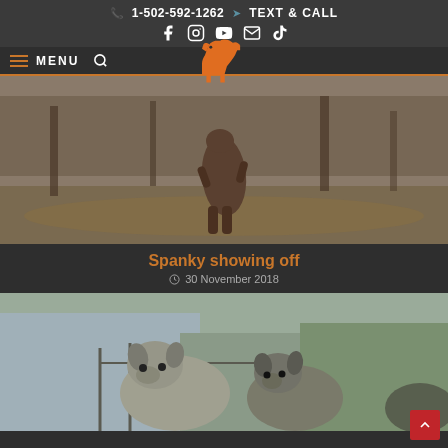1-502-592-1262  TEXT & CALL  Facebook Instagram YouTube Email TikTok
[Figure (screenshot): Website navigation bar with hamburger menu icon, MENU text, search icon, and orange dog logo]
[Figure (photo): A dog standing on hind legs outdoors in a wooded area with fallen leaves on the ground]
Spanky showing off
30 November 2018
[Figure (photo): Two large brindle/grey dogs (Cane Corsos or similar breed) standing near a barn or outbuilding structure]